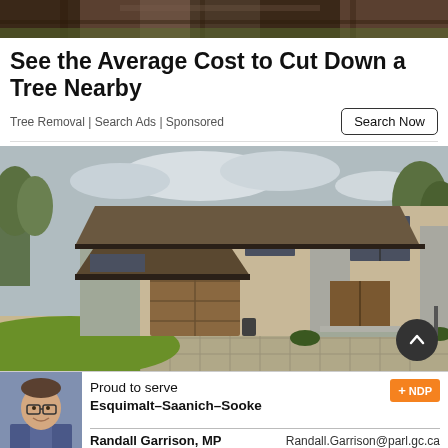[Figure (photo): Close-up of tree bark/roots at the top of the page]
See the Average Cost to Cut Down a Tree Nearby
Tree Removal | Search Ads | Sponsored
[Figure (photo): Large modern two-story house with stone accents, dark roof, wooden garage door, and circular driveway with green lawn]
[Figure (photo): Political advertisement banner: Proud to serve Esquimalt-Saanich-Sooke, NDP logo, Randall Garrison MP, Randall.Garrison@parl.gc.ca]